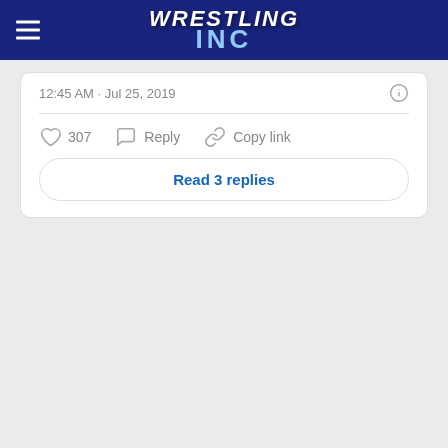Wrestling Inc
12:45 AM · Jul 25, 2019
307  Reply  Copy link
Read 3 replies